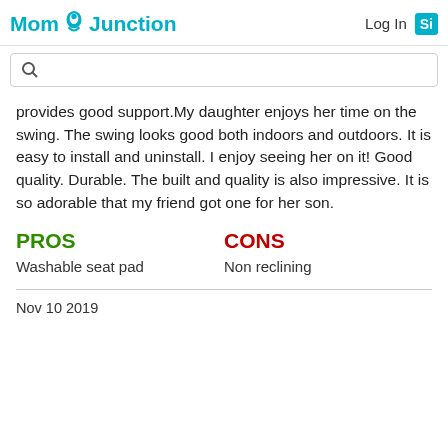MomJunction  Log In  Si
provides good support.My daughter enjoys her time on the swing. The swing looks good both indoors and outdoors. It is easy to install and uninstall. I enjoy seeing her on it! Good quality. Durable. The built and quality is also impressive. It is so adorable that my friend got one for her son.
PROS
CONS
Washable seat pad
Non reclining
Nov 10 2019